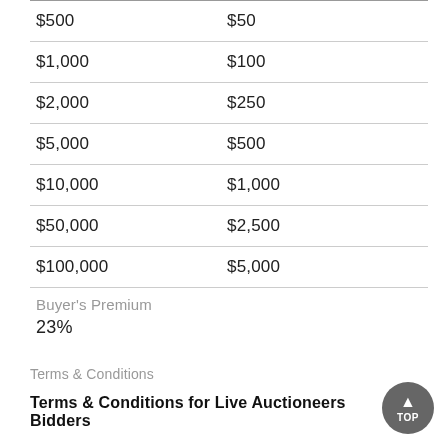| Amount | Increment |
| --- | --- |
| $500 | $50 |
| $1,000 | $100 |
| $2,000 | $250 |
| $5,000 | $500 |
| $10,000 | $1,000 |
| $50,000 | $2,500 |
| $100,000 | $5,000 |
Buyer's Premium
23%
Terms & Conditions
Terms & Conditions for Live Auctioneers Bidders